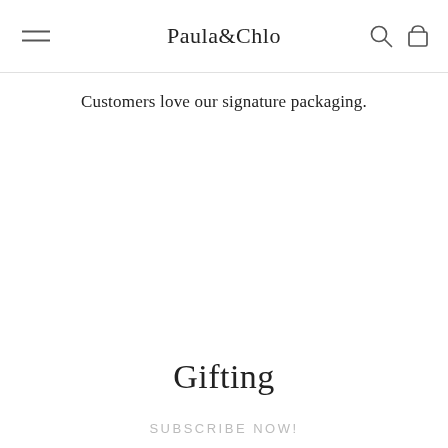Paula&Chlo
Customers love our signature packaging.
Gifting
SUBSCRIBE NOW!